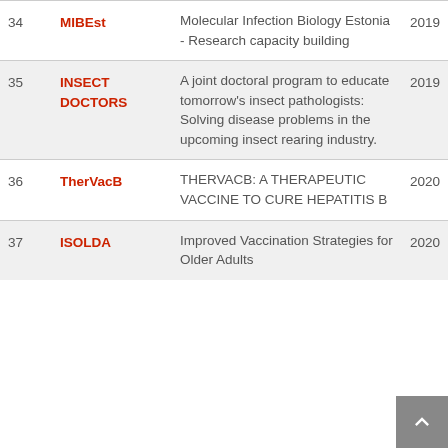| # | Name | Description | Year |
| --- | --- | --- | --- |
| 34 | MIBEst | Molecular Infection Biology Estonia - Research capacity building | 2019 |
| 35 | INSECT DOCTORS | A joint doctoral program to educate tomorrow's insect pathologists: Solving disease problems in the upcoming insect rearing industry. | 2019 |
| 36 | TherVacB | THERVACB: A THERAPEUTIC VACCINE TO CURE HEPATITIS B | 2020 |
| 37 | ISOLDA | Improved Vaccination Strategies for Older Adults | 2020 |